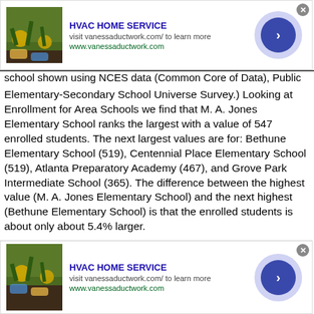[Figure (other): HVAC HOME SERVICE advertisement banner with garden/planting image, top of page]
school shown using NCES data (Common Core of Data), Public Elementary-Secondary School Universe Survey.) Looking at Enrollment for Area Schools we find that M. A. Jones Elementary School ranks the largest with a value of 547 enrolled students. The next largest values are for: Bethune Elementary School (519), Centennial Place Elementary School (519), Atlanta Preparatory Academy (467), and Grove Park Intermediate School (365). The difference between the highest value (M. A. Jones Elementary School) and the next highest (Bethune Elementary School) is that the enrolled students is about only about 5.4% larger.
[Figure (other): HVAC HOME SERVICE advertisement banner with garden/planting image, bottom of page]